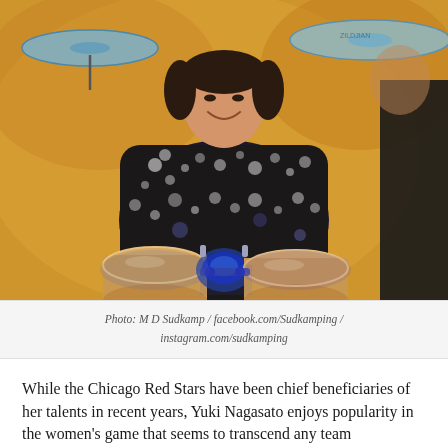[Figure (photo): A woman in a dark floral kimono-style garment smiling while playing drums on stage, surrounded by cymbals, against a golden/orange background. Another performer visible on the right.]
Photo: M D Sudkamp / facebook.com/Sudkamping / instagram.com/sudkamping
While the Chicago Red Stars have been chief beneficiaries of her talents in recent years, Yuki Nagasato enjoys popularity in the women's game that seems to transcend any team allegiances. The Japanese forward had already been to the summit of her sport long before her US move, but bonded by battle scars, baristas and musical keys, she found a spark to help